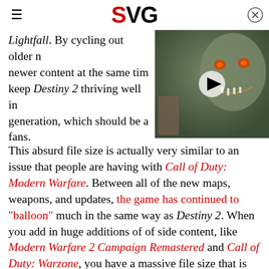SVG
Lightfall. By cycling out older content and introducing newer content at the same time, Bungie should be able to keep Destiny 2 thriving well into the next generation, which should be a relief to long-time fans.
[Figure (screenshot): Video thumbnail showing a creature from a video game with glowing eyes and open mouth, with a play button overlay]
This absurd file size is actually very similar to an issue that people are having with Call of Duty: Modern Warfare. Between all of the new maps, weapons, and updates, the game has continued to "balloon" much in the same way as Destiny 2. When you add in huge additions of of side content, like Modern Warfare 2 Campaign Remastered and Call of Duty: Warzone, you have a massive file size that is almost untenable. Much